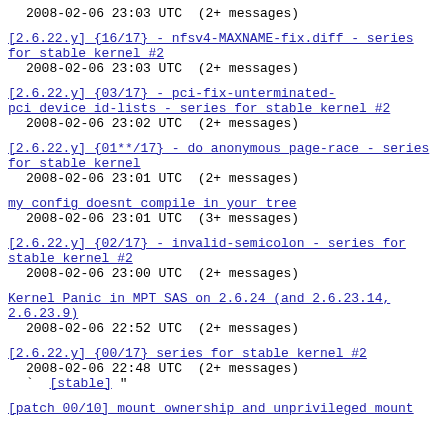2008-02-06 23:03 UTC  (2+ messages)
[2.6.22.y] {16/17} - nfsv4-MAXNAME-fix.diff - series for stable kernel #2
  2008-02-06 23:03 UTC  (2+ messages)
[2.6.22.y] {03/17} - pci-fix-unterminated-pci device id-lists - series for stable kernel #2
  2008-02-06 23:02 UTC  (2+ messages)
[2.6.22.y] {01**/17} - do anonymous page-race - series for stable kernel
  2008-02-06 23:01 UTC  (2+ messages)
my config doesnt compile in your tree
  2008-02-06 23:01 UTC  (3+ messages)
[2.6.22.y] {02/17} - invalid-semicolon - series for stable kernel #2
  2008-02-06 23:00 UTC  (2+ messages)
Kernel Panic in MPT SAS on 2.6.24 (and 2.6.23.14, 2.6.23.9)
  2008-02-06 22:52 UTC  (2+ messages)
[2.6.22.y] {00/17} series for stable kernel #2
  2008-02-06 22:48 UTC  (2+ messages)
`  [stable] "
[patch 00/10] mount ownership and unprivileged mount